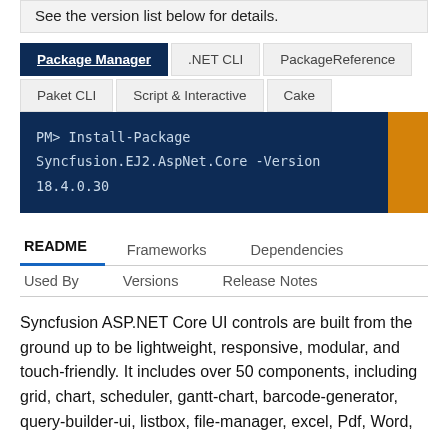See the version list below for details.
Package Manager | .NET CLI | PackageReference | Paket CLI | Script & Interactive | Cake
PM> Install-Package Syncfusion.EJ2.AspNet.Core -Version 18.4.0.30
README | Frameworks | Dependencies | Used By | Versions | Release Notes
Syncfusion ASP.NET Core UI controls are built from the ground up to be lightweight, responsive, modular, and touch-friendly. It includes over 50 components, including grid, chart, scheduler, gantt-chart, barcode-generator, query-builder-ui, listbox, file-manager, excel, Pdf, Word,